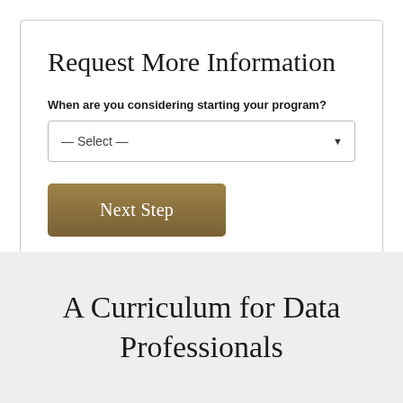Request More Information
When are you considering starting your program?
— Select —
Next Step
A Curriculum for Data Professionals